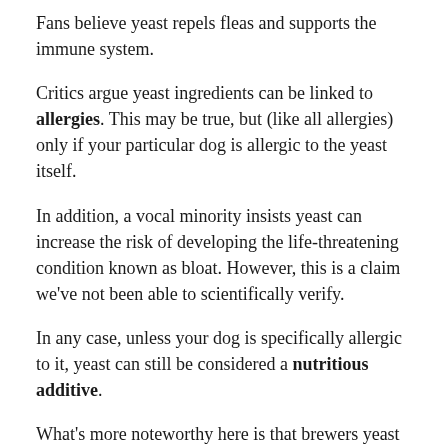Fans believe yeast repels fleas and supports the immune system.
Critics argue yeast ingredients can be linked to allergies. This may be true, but (like all allergies) only if your particular dog is allergic to the yeast itself.
In addition, a vocal minority insists yeast can increase the risk of developing the life-threatening condition known as bloat. However, this is a claim we’ve not been able to scientifically verify.
In any case, unless your dog is specifically allergic to it, yeast can still be considered a nutritious additive.
What’s more noteworthy here is that brewers yeast contains about 48% protein, a factor that must be considered when judging the actual meat content of this dog food.